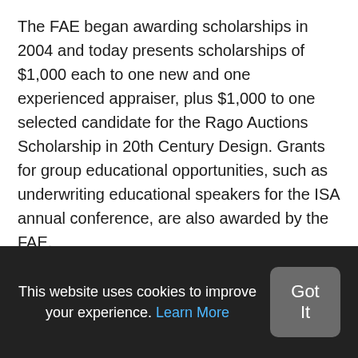The FAE began awarding scholarships in 2004 and today presents scholarships of $1,000 each to one new and one experienced appraiser, plus $1,000 to one selected candidate for the Rago Auctions Scholarship in 20th Century Design. Grants for group educational opportunities, such as underwriting educational speakers for the ISA annual conference, are also awarded by the FAE.
The FAE also publishes the Journal of Advanced Appraisal Studies, launched in spring of 2008 and written specifically for personal property appraisers and those who utilize appraisal services. The Journal is a compilation of research articles, integrative reviews
This website uses cookies to improve your experience. Learn More